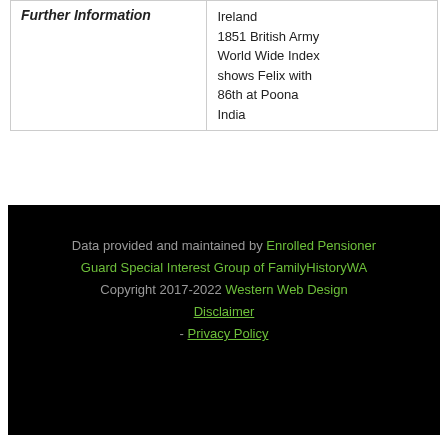| Further Information | Ireland
1851 British Army World Wide Index shows Felix with 86th at Poona India |
Data provided and maintained by Enrolled Pensioner Guard Special Interest Group of FamilyHistoryWA Copyright 2017-2022 Western Web Design Disclaimer - Privacy Policy